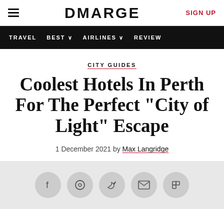DMARGE
TRAVEL   BEST   AIRLINES   REVIEW
CITY GUIDES
Coolest Hotels In Perth For The Perfect "City of Light" Escape
1 December 2021 by Max Langridge
[Figure (other): Social share icons: Facebook, WhatsApp, Twitter, Email, Flipboard]